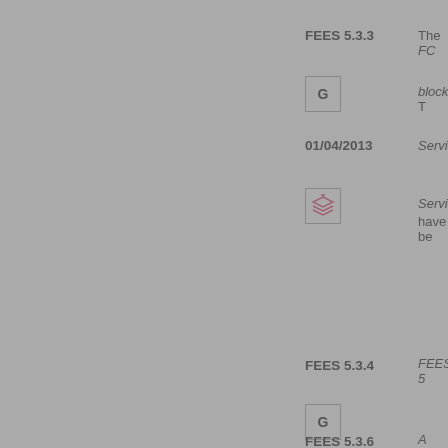FEES 5.3.3
The FC...
[Figure (other): G icon box]
block. T...
01/04/2013
Service...
[Figure (other): stacked layers icon box]
Service... have be...
FEES 5.3.4
FEES 5...
[Figure (other): G icon box]
17/12/2010
[Figure (other): stacked layers icon box]
FEES 5.3.5
The FC...
[Figure (other): G icon box]
01/04/2013
[Figure (other): stacked layers icon box]
FEES 5.3.6
A firm m...